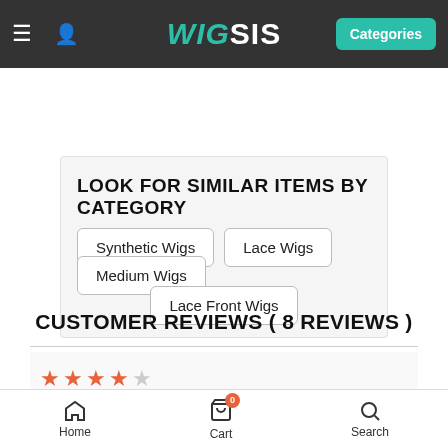WIG SIS — Categories
LOOK FOR SIMILAR ITEMS BY CATEGORY
Synthetic Wigs
Lace Wigs
Medium Wigs
Lace Front Wigs
CUSTOMER REVIEWS ( 8 REVIEWS )
★★★★☆
L**y
Nov 15, 2014
Definitly a keeper, I should have bought this a long time ago.
Home | Cart 0 | Search